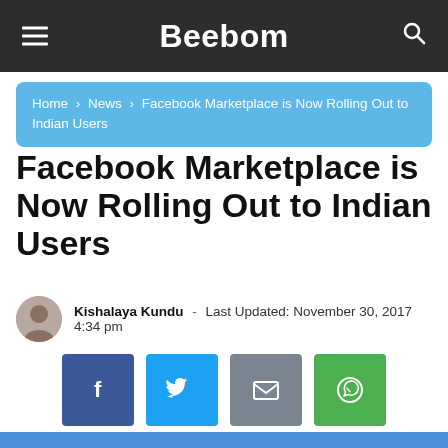Beebom
Home › News › Facebook Marketplace is Now Rolling Out to Indian Users
Facebook Marketplace is Now Rolling Out to Indian Users
Kishalaya Kundu - Last Updated: November 30, 2017 4:34 pm
[Figure (infographic): Social share buttons: Facebook, Twitter, Email, WhatsApp]
[Figure (photo): Blue background with a white smartphone/phone outline visible at the bottom]